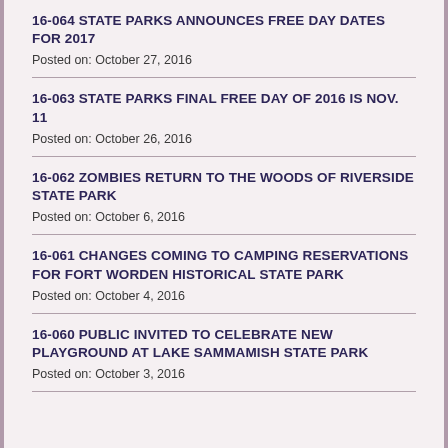16-064 STATE PARKS ANNOUNCES FREE DAY DATES FOR 2017
Posted on: October 27, 2016
16-063 STATE PARKS FINAL FREE DAY OF 2016 IS NOV. 11
Posted on: October 26, 2016
16-062 ZOMBIES RETURN TO THE WOODS OF RIVERSIDE STATE PARK
Posted on: October 6, 2016
16-061 CHANGES COMING TO CAMPING RESERVATIONS FOR FORT WORDEN HISTORICAL STATE PARK
Posted on: October 4, 2016
16-060 PUBLIC INVITED TO CELEBRATE NEW PLAYGROUND AT LAKE SAMMAMISH STATE PARK
Posted on: October 3, 2016